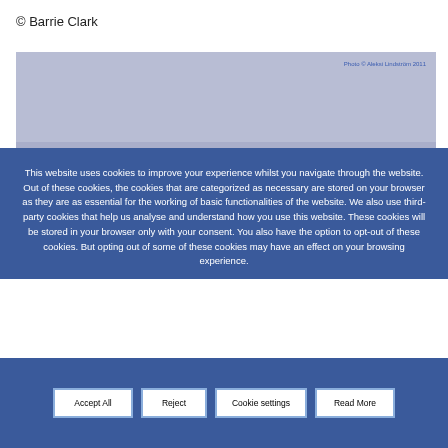© Barrie Clark
[Figure (photo): Landscape or outdoor photograph with light bluish-gray sky/background. Photo credit: Photo © Aleksi Lindström 2011]
This website uses cookies to improve your experience whilst you navigate through the website. Out of these cookies, the cookies that are categorized as necessary are stored on your browser as they are as essential for the working of basic functionalities of the website. We also use third-party cookies that help us analyse and understand how you use this website. These cookies will be stored in your browser only with your consent. You also have the option to opt-out of these cookies. But opting out of some of these cookies may have an effect on your browsing experience.
Accept All
Reject
Cookie settings
Read More